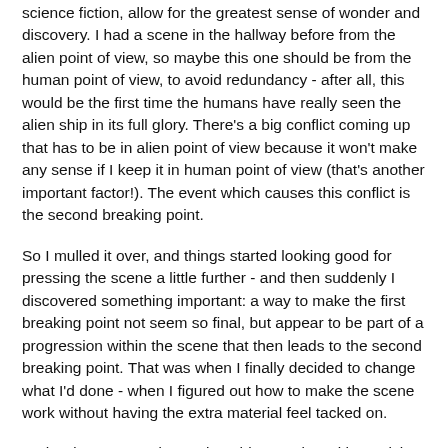science fiction, allow for the greatest sense of wonder and discovery. I had a scene in the hallway before from the alien point of view, so maybe this one should be from the human point of view, to avoid redundancy - after all, this would be the first time the humans have really seen the alien ship in its full glory. There's a big conflict coming up that has to be in alien point of view because it won't make any sense if I keep it in human point of view (that's another important factor!). The event which causes this conflict is the second breaking point.
So I mulled it over, and things started looking good for pressing the scene a little further - and then suddenly I discovered something important: a way to make the first breaking point not seem so final, but appear to be part of a progression within the scene that then leads to the second breaking point. That was when I finally decided to change what I'd done - when I figured out how to make the scene work without having the extra material feel tacked on.
It's hard to get any deeper into this question without giving more of the actual story text, which I don't feel comfortable doing at the moment. I just hope that this post has given...